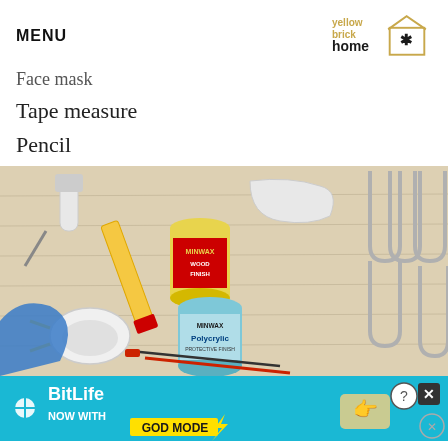MENU | Yellow Brick Home logo
Face mask
Tape measure
Pencil
[Figure (photo): Overhead flat-lay of DIY tools and supplies on a wooden surface: paint roller, scraper, Minwax Wood Finish can, Minwax Polycrylic can, face mask, blue tarp, drill bits, pencil, and metal hairpin legs.]
[Figure (other): BitLife advertisement banner: 'NOW WITH GOD MODE' with lightning bolt graphic, hand pointing, help icon, and close X button.]